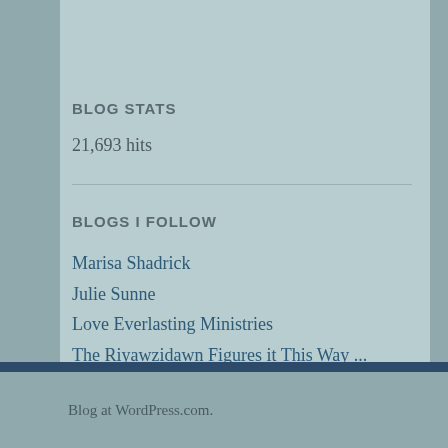BLOG STATS
21,693 hits
BLOGS I FOLLOW
Marisa Shadrick
Julie Sunne
Love Everlasting Ministries
The Riyawzidawn Figures it This Way …
The Philippian Jailer
Standing in Faith Ministries
Blog at WordPress.com.